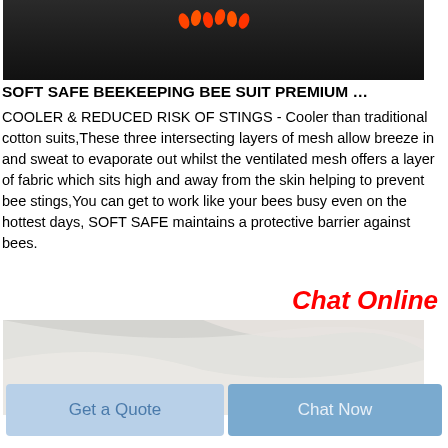[Figure (photo): Dark background product photo showing orange/red small objects (likely bee suit components or pins) on a dark grey/black textile surface. Top portion of image visible.]
SOFT SAFE BEEKEEPING BEE SUIT PREMIUM …
COOLER & REDUCED RISK OF STINGS - Cooler than traditional cotton suits,These three intersecting layers of mesh allow breeze in and sweat to evaporate out whilst the ventilated mesh offers a layer of fabric which sits high and away from the skin helping to prevent bee stings,You can get to work like your bees busy even on the hottest days, SOFT SAFE maintains a protective barrier against bees.
Chat Online
[Figure (photo): Light-colored fabric or textile material, appears to be white/cream colored cloth with soft folds, shown close-up.]
Get a Quote
Chat Now